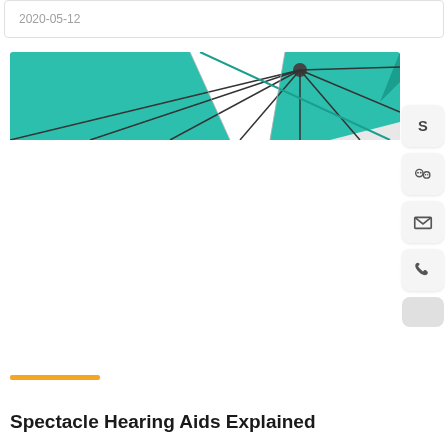2020-05-12
[Figure (photo): Close-up photograph of a teal and white umbrella canopy viewed from below, showing the spokes radiating from the center hub]
[Figure (infographic): Side panel with social media and contact buttons: Skype icon, WeChat icon, Email/envelope icon, Phone icon, and a small grey rounded button]
Spectacle Hearing Aids Explained